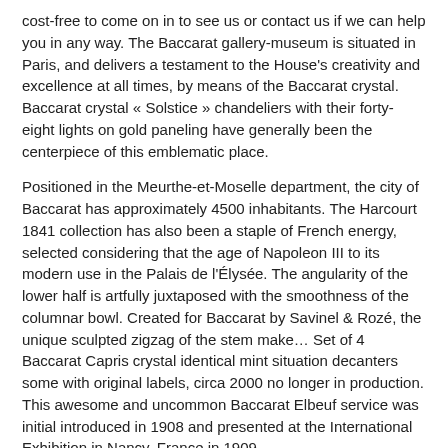cost-free to come on in to see us or contact us if we can help you in any way. The Baccarat gallery-museum is situated in Paris, and delivers a testament to the House's creativity and excellence at all times, by means of the Baccarat crystal. Baccarat crystal « Solstice » chandeliers with their forty-eight lights on gold paneling have generally been the centerpiece of this emblematic place.
Positioned in the Meurthe-et-Moselle department, the city of Baccarat has approximately 4500 inhabitants. The Harcourt 1841 collection has also been a staple of French energy, selected considering that the age of Napoleon III to its modern use in the Palais de l'Élysée. The angularity of the lower half is artfully juxtaposed with the smoothness of the columnar bowl. Created for Baccarat by Savinel & Rozé, the unique sculpted zigzag of the stem make… Set of 4 Baccarat Capris crystal identical mint situation decanters some with original labels, circa 2000 no longer in production. This awesome and uncommon Baccarat Elbeuf service was initial introduced in 1908 and presented at the International Exhibition in Nancy, France in 1909.
For every single £1 deposited on your very first deposit, 1 no cost spin is awarded, up to a maximum of 50 . Any wins from those totally free spins are paid out in money and are yours to retain quickly. We want a lot more casinos were so transparent with their provides.